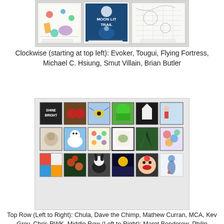[Figure (photo): Three framed artworks displayed on a white wall: left shows colorful illustrated characters and objects, center shows a blue illustrated book cover reading 'Moonlit Trail', right shows a detailed pencil/ink drawing.]
Clockwise (starting at top left): Evoker, Tougui, Flying Fortress,
Michael C. Hsiung, Smut Villain, Brian Butler
[Figure (photo): Gallery wall showing 18 small framed artworks arranged in 3 rows of 6, with diverse styles including 'Shine Bright' text piece, colorful animals, insects, landscapes, and abstract works.]
Top Row (Left to Right): Chula, Dave the Chimp, Mathew Curran, MCA, Kev Grey, Chris RWK, Middle Row (Left to Right): Maret Bondorew, Philip Lumbang/kaNO, Aya Kakeda, Lou Pimentel, Chris Austin, Mr. Walters